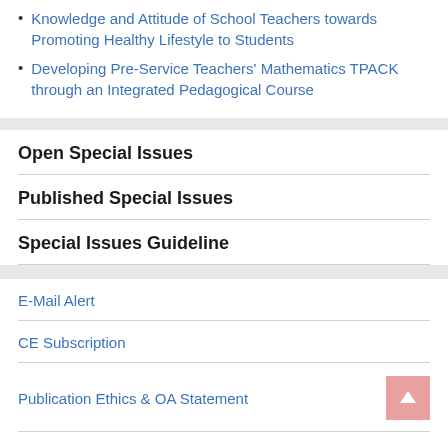Knowledge and Attitude of School Teachers towards Promoting Healthy Lifestyle to Students
Developing Pre-Service Teachers' Mathematics TPACK through an Integrated Pedagogical Course
Open Special Issues
Published Special Issues
Special Issues Guideline
E-Mail Alert
CE Subscription
Publication Ethics & OA Statement
Frequently Asked Questions